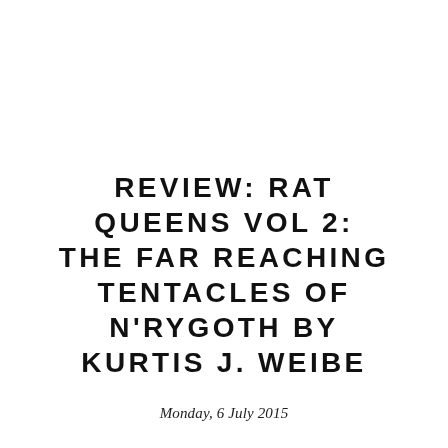REVIEW: RAT QUEENS VOL 2: THE FAR REACHING TENTACLES OF N'RYGOTH BY KURTIS J. WEIBE
Monday, 6 July 2015